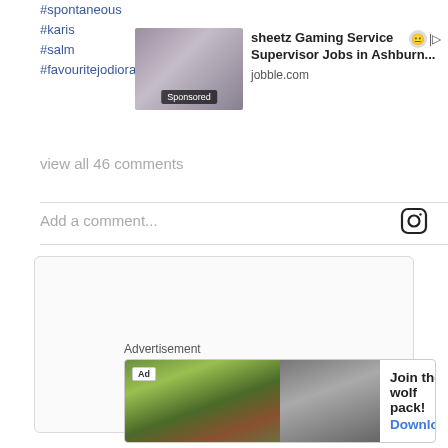#spontaneous
#karis
#salm
#favouritejodioralltimes
[Figure (screenshot): Sponsored job ad banner: thumbnail photo of woman at desk, 'Sponsored' label overlay, ad text 'sheetz Gaming Service Supervisor Jobs in Ashburn...' with jobble.com source, and icon controls]
view all 46 comments
Add a comment...
[Figure (logo): Instagram camera icon (rounded square outline with circle and dot)]
[Figure (other): Large empty white box with rounded border (post content area)]
Advertisement
[Figure (screenshot): Bottom ad banner: 'Ad' badge, bear/nature game image on left, wolf photo on right, text 'Join the wolf pack!' and 'Download' link in blue]